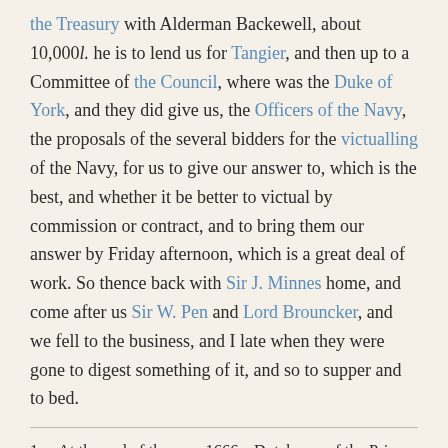the Treasury with Alderman Backewell, about 10,000l. he is to lend us for Tangier, and then up to a Committee of the Council, where was the Duke of York, and they did give us, the Officers of the Navy, the proposals of the several bidders for the victualling of the Navy, for us to give our answer to, which is the best, and whether it be better to victual by commission or contract, and to bring them our answer by Friday afternoon, which is a great deal of work. So thence back with Sir J. Minnes home, and come after us Sir W. Pen and Lord Brouncker, and we fell to the business, and I late when they were gone to digest something of it, and so to supper and to bed.
1. At the end of the year 1666 a Dutchman of the Prince of Orange's party, named Kiviet, came over to England with proposals for embanking the river from the Temple to the Tower with brick, and was knighted by